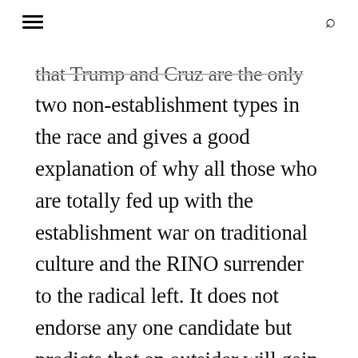≡  🔍
that Trump and Cruz are the only two non-establishment types in the race and gives a good explanation of why all those who are totally fed up with the establishment war on traditional culture and the RINO surrender to the radical left. It does not endorse any one candidate but predicts that an outsider will gain the nomination and points out why they believe that Rubio is a